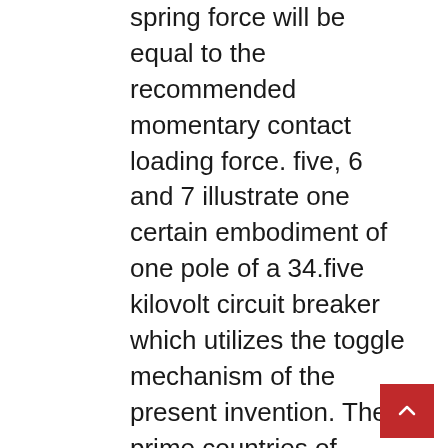spring force will be equal to the recommended momentary contact loading force. five, 6 and 7 illustrate one certain embodiment of one pole of a 34.five kilovolt circuit breaker which utilizes the toggle mechanism of the present invention. The prime countries of supplier is China, from which the percentage of vacuum circuit breaker provide is one hundred% respectively. No flow of an ‘extinguishing’ medium necessary to extinguish the vacuum arc. Really extensive testing has shown that, simply because of its unique characteristics the SF6 self-pressuring circuit-breaker possesses considerable benefits in handling higher frequency transient phenomena, in comparison with both the puffer type SF6